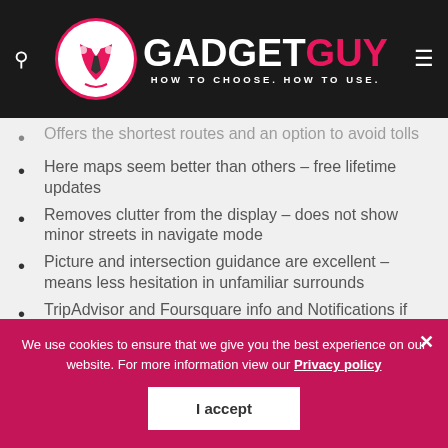GADGET GUY — HOW TO CHOOSE. HOW TO USE.
Offers the shortest routes and an option to avoid tolls
Here maps seem better than others – free lifetime updates
Removes clutter from the display – does not show minor streets in navigate mode
Picture and intersection guidance are excellent – means less hesitation in unfamiliar surrounds
TripAdvisor and Foursquare info and Notifications if
We use cookies to ensure that we give you the best experience on our website. For more information view our Privacy policy
I accept